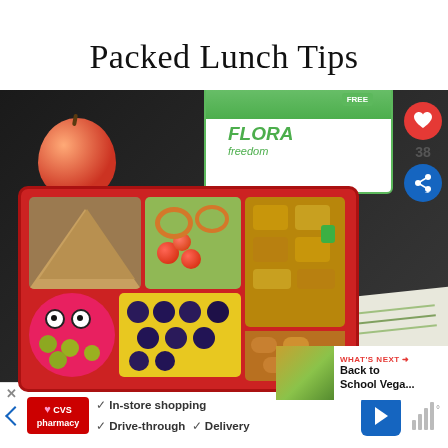Packed Lunch Tips
[Figure (photo): Bento box packed lunch with sandwich triangles, pretzels, cherry tomatoes, olives in red cupcake liner with googly eyes, blueberries, and breaded protein pieces. A nectarine/peach and a Flora Freedom spread container are visible in the background. Social share icons (heart=38) on the right side. A 'What's Next: Back to School Vega...' overlay in the bottom right corner.]
WHAT'S NEXT → Back to School Vega...
In-store shopping  Drive-through  Delivery